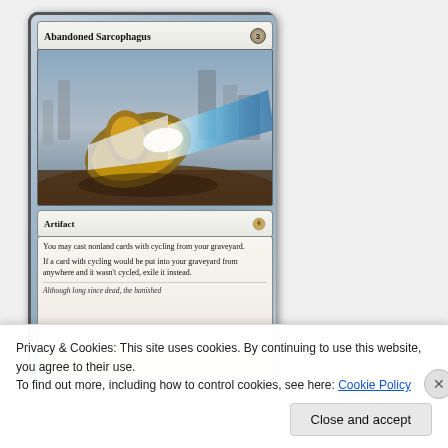[Figure (illustration): Magic: The Gathering card named 'Abandoned Sarcophagus' with mana cost 3, type Artifact. Art shows a glowing sarcophagus in a desert landscape with blue/white energy. Rules text: 'You may cast nonland cards with cycling from your graveyard. If a card with cycling would be put into your graveyard from anywhere and it wasn't cycled, exile it instead.' Partially visible flavor text at bottom.]
Privacy & Cookies: This site uses cookies. By continuing to use this website, you agree to their use.
To find out more, including how to control cookies, see here: Cookie Policy
Close and accept